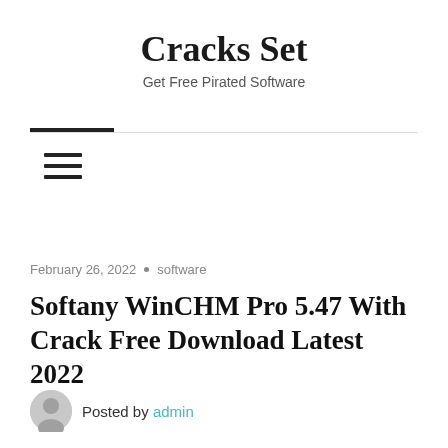Cracks Set
Get Free Pirated Software
February 26, 2022 • software
Softany WinCHM Pro 5.47 With Crack Free Download Latest 2022
Posted by admin